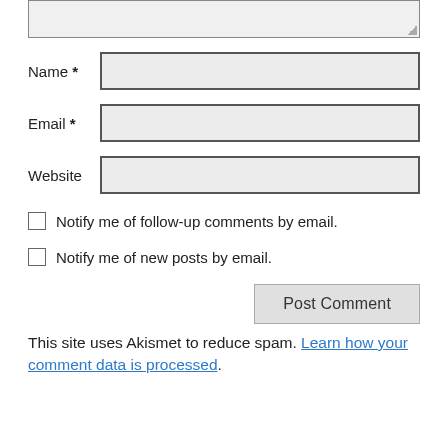[Figure (screenshot): Partial comment form textarea (top, cropped)]
Name *
Email *
Website
Notify me of follow-up comments by email.
Notify me of new posts by email.
Post Comment
This site uses Akismet to reduce spam. Learn how your comment data is processed.